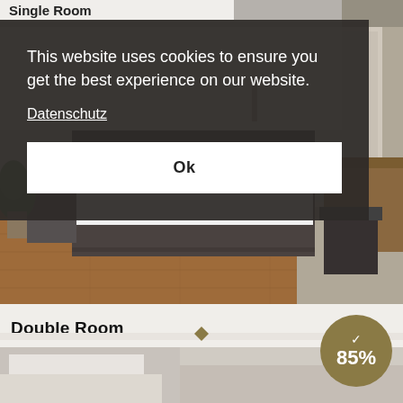Single Room
[Figure (photo): Hotel single room interior with white bedding, dark bed frame, hardwood floors, plant and seating area]
This website uses cookies to ensure you get the best experience on our website.
Datenschutz
Ok
Double Room
[Figure (photo): Hotel double room interior partial view]
85%